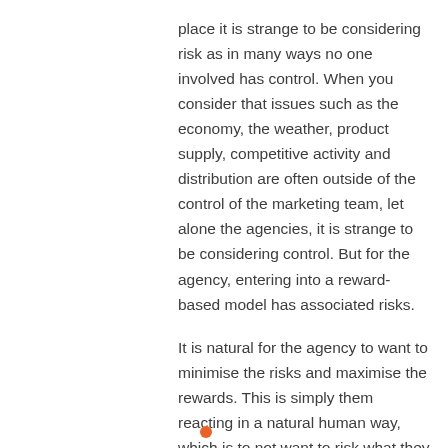place it is strange to be considering risk as in many ways no one involved has control. When you consider that issues such as the economy, the weather, product supply, competitive activity and distribution are often outside of the control of the marketing team, let alone the agencies, it is strange to be considering control. But for the agency, entering into a reward-based model has associated risks.
It is natural for the agency to want to minimise the risks and maximise the rewards. This is simply them reacting in a natural human way, which is to not want to risk what they already have, which is the current compensation model.